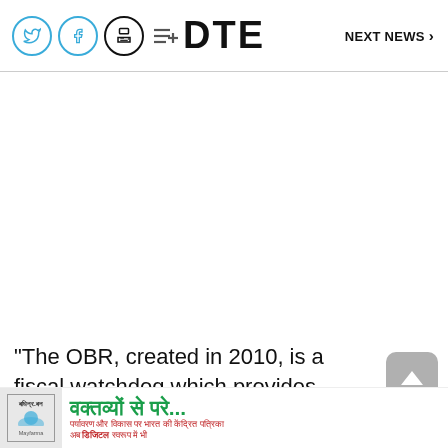DTE | NEXT NEWS
“The OBR, created in 2010, is a fiscal watchdog which provides independent economic forecasts and analysis of the UK eco... incr...
[Figure (screenshot): Advertisement banner with Hindi text वक्तव्यों से परे... and small logo]